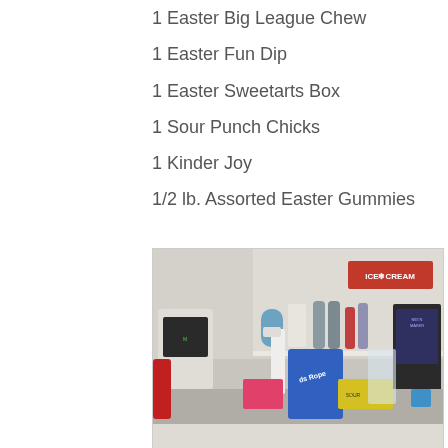1 Easter Big League Chew
1 Easter Fun Dip
1 Easter Sweetarts Box
1 Sour Punch Chicks
1 Kinder Joy
1/2 lb. Assorted Easter Gummies
[Figure (photo): Photo of an Easter candy basket with various candies including Sour Punch Ropes and other treats, set in what appears to be an ice cream shop with shelving and an ICE CREAM sign visible in the background.]